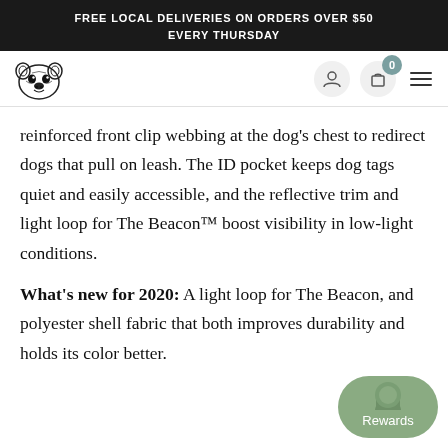FREE LOCAL DELIVERIES ON ORDERS OVER $50 EVERY THURSDAY
reinforced front clip webbing at the dog's chest to redirect dogs that pull on leash. The ID pocket keeps dog tags quiet and easily accessible, and the reflective trim and light loop for The Beacon™ boost visibility in low-light conditions.
What's new for 2020: A light loop for The Beacon, and polyester shell fabric that both improves durability and holds its color better.